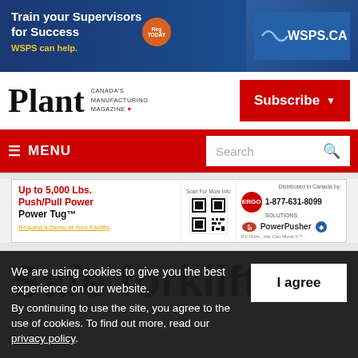[Figure (other): WSPS.CA advertisement banner: Train your Supervisors for Success, WSPS can help.]
[Figure (logo): Plant - Canada's Manufacturing Magazine logo with red maple leaf]
Subscribe
≡ MENU
[Figure (other): Search box in red navigation bar]
[Figure (other): PowerPusher/ErgoSolutions advertisement: Up to 5,000 Lbs. Push/Pull Power Power Tug™, 1-877-631-8099]
Safe forklift
We are using cookies to give you the best experience on our website.
By continuing to use the site, you agree to the use of cookies.
To find out more, read our privacy policy.